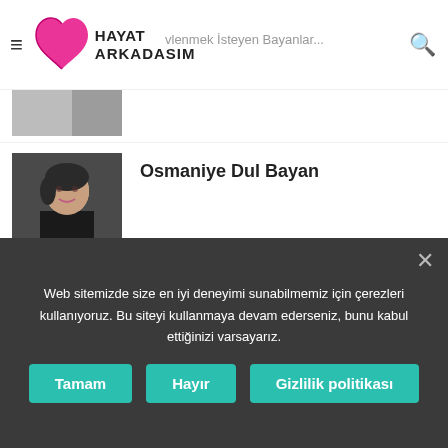Hayat Arkadaşım — Evlenmek İsteyen Bayanlar
Osmaniye Dul Bayan
Osmaniye Bayan Arkadaş
Ücretsiz Ordu Arkadaşlık
Web sitemizde size en iyi deneyimi sunabilmemiz için çerezleri kullanıyoruz. Bu siteyi kullanmaya devam ederseniz, bunu kabul ettiğinizi varsayarız.
Tamam | Hayır | Gizlilik politikası